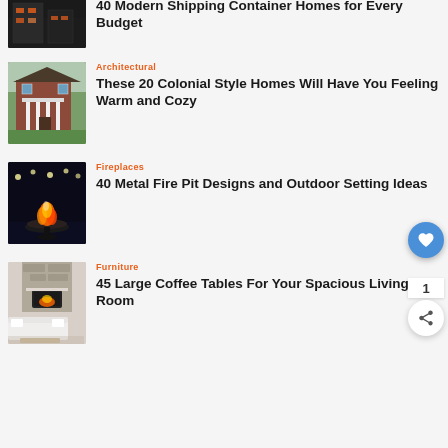[Figure (photo): Shipping container home at night with orange lighting]
40 Modern Shipping Container Homes for Every Budget
Architectural
[Figure (photo): Colonial style brick home with white columns and balcony]
These 20 Colonial Style Homes Will Have You Feeling Warm and Cozy
Fireplaces
[Figure (photo): Metal fire pit with flames lit outdoors at night near water]
40 Metal Fire Pit Designs and Outdoor Setting Ideas
Furniture
[Figure (photo): Living room with large coffee table, white sofa, and stone fireplace]
45 Large Coffee Tables For Your Spacious Living Room